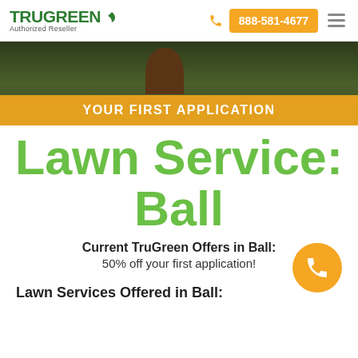TruGreen Authorized Reseller | 888-581-4677
[Figure (photo): Hero banner image showing a lawn/grass background with a person silhouette. A golden-orange banner at the bottom reads YOUR FIRST APPLICATION in bold white uppercase text.]
Lawn Service: Ball
Current TruGreen Offers in Ball: 50% off your first application!
Lawn Services Offered in Ball: